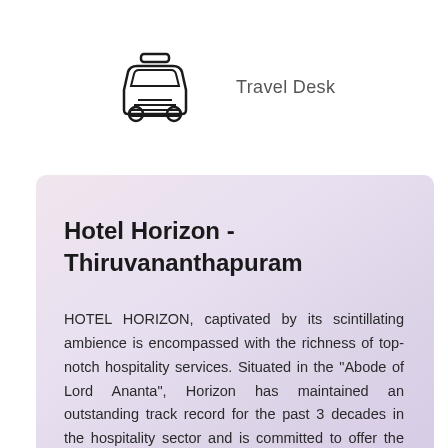[Figure (illustration): Taxi/cab car icon in outline style]
Travel Desk
Hotel Horizon - Thiruvananthapuram
HOTEL HORIZON, captivated by its scintillating ambience is encompassed with the richness of top-notch hospitality services. Situated in the "Abode of Lord Ananta", Horizon has maintained an outstanding track record for the past 3 decades in the hospitality sector and is committed to offer the best of its services exclusively for its customers